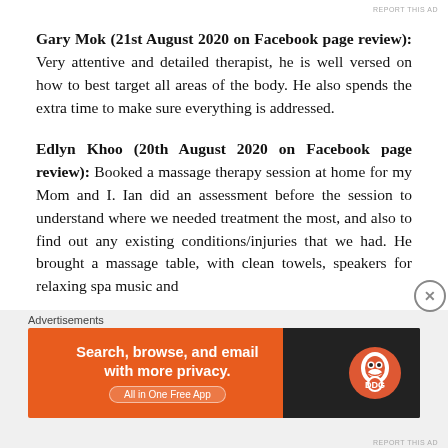Gary Mok (21st August 2020 on Facebook page review): Very attentive and detailed therapist, he is well versed on how to best target all areas of the body. He also spends the extra time to make sure everything is addressed.
Edlyn Khoo (20th August 2020 on Facebook page review): Booked a massage therapy session at home for my Mom and I. Ian did an assessment before the session to understand where we needed treatment the most, and also to find out any existing conditions/injuries that we had. He brought a massage table, with clean towels, speakers for relaxing spa music and
Advertisements
[Figure (other): DuckDuckGo advertisement banner. Left side orange background with text 'Search, browse, and email with more privacy.' and 'All in One Free App'. Right side dark background with DuckDuckGo logo.]